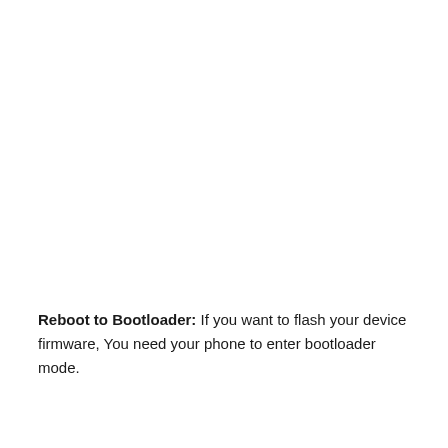Reboot to Bootloader: If you want to flash your device firmware, You need your phone to enter bootloader mode.